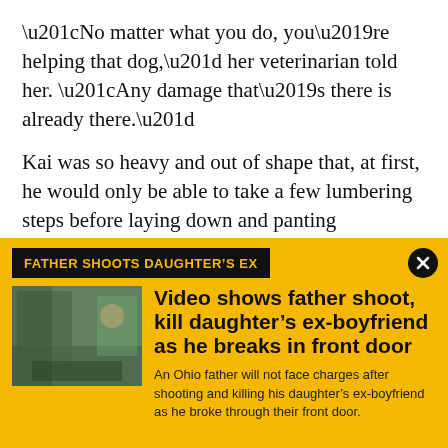“No matter what you do, you’re helping that dog,” her veterinarian told her. “Any damage that’s there is already there.”
Kai was so heavy and out of shape that, at first, he would only be able to take a few lumbering steps before laying down and panting excessively, but Heggie was determined to walk him every single day.
On top of his walks with Heggie, Kai also underwent
FATHER SHOOTS DAUGHTER’S EX
Video shows father shoot, kill daughter’s ex-boyfriend as he breaks in front door
An Ohio father will not face charges after shooting and killing his daughter’s ex-boyfriend as he broke through their front door.